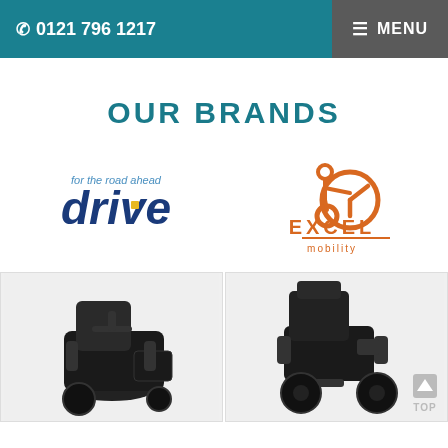☎ 0121 796 1217   ≡ MENU
OUR BRANDS
[Figure (logo): Drive 'for the road ahead' logo in dark blue and yellow]
[Figure (logo): Excel Mobility logo in orange with wheelchair icon]
[Figure (photo): Electric mobility scooter/wheelchair with basket, dark colored]
[Figure (photo): Power wheelchair, dark colored, side view]